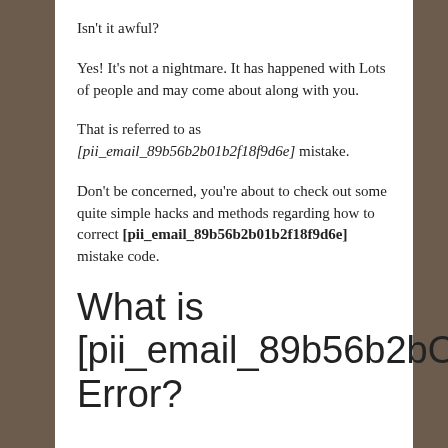Isn't it awful?
Yes! It's not a nightmare. It has happened with Lots of people and may come about along with you.
That is referred to as [pii_email_89b56b2b01b2f18f9d6e] mistake.
Don't be concerned, you're about to check out some quite simple hacks and methods regarding how to correct [pii_email_89b56b2b01b2f18f9d6e] mistake code.
What is [pii_email_89b56b2bO1b2 Error?